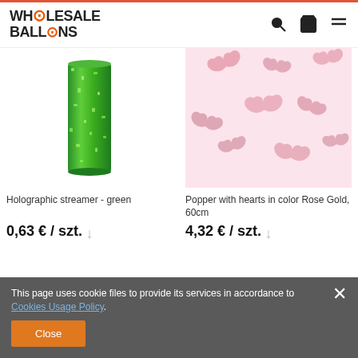WHOLESALE BALLOONS
[Figure (photo): Green holographic streamer roll standing upright]
Holographic streamer - green
0,63 € / szt.
[Figure (photo): Pink rose gold heart-shaped confetti scattered on white/pink background]
Popper with hearts in color Rose Gold, 60cm
4,32 € / szt.
Popper petals of white roses, 40cm
Popper with streamers, silver, 40cm
This page uses cookie files to provide its services in accordance to Cookies Usage Policy.
Close